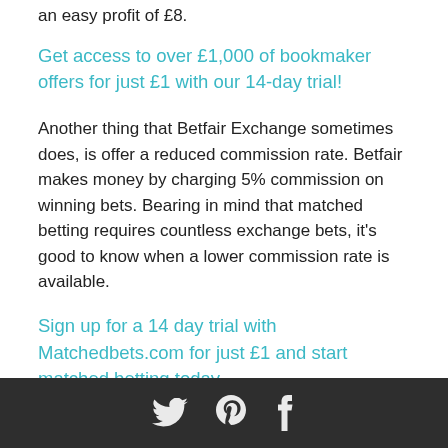an easy profit of £8.
Get access to over £1,000 of bookmaker offers for just £1 with our 14-day trial!
Another thing that Betfair Exchange sometimes does, is offer a reduced commission rate. Betfair makes money by charging 5% commission on winning bets. Bearing in mind that matched betting requires countless exchange bets, it’s good to know when a lower commission rate is available.
Sign up for a 14 day trial with Matchedbets.com for just £1 and start matched betting today
[Figure (other): Dark footer bar with social media icons (Twitter, Pinterest, Facebook) in white on a dark grey/charcoal background.]